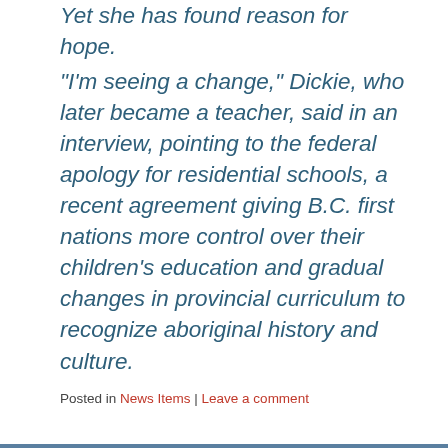Yet she has found reason for hope. “I’m seeing a change,” Dickie, who later became a teacher, said in an interview, pointing to the federal apology for residential schools, a recent agreement giving B.C. first nations more control over their children’s education and gradual changes in provincial curriculum to recognize aboriginal history and culture.
Posted in News Items | Leave a comment